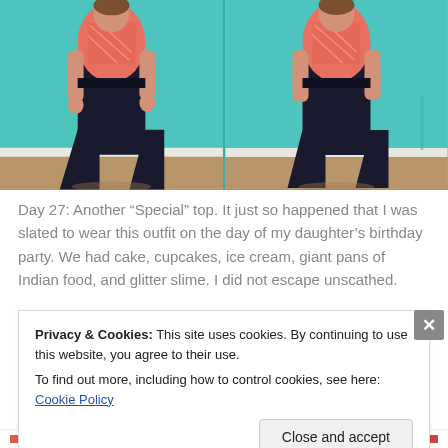[Figure (photo): Two side-by-side photos of a person wearing a coral/pink patterned top and dark wide-leg black trousers, standing against a teal/turquoise wall. Left photo shows front view, right photo shows a slightly different angle. Wooden floor visible at bottom.]
Day 27: Another “Special” top. It just so happened that I was slated to wear this outfit on the day of my daughter’s birthday party. We had cake, cupcakes, ice cream, giant pans of Indian food, and glitter slime. I did not escape unscathed.
Privacy & Cookies: This site uses cookies. By continuing to use this website, you agree to their use.
To find out more, including how to control cookies, see here: Cookie Policy
Close and accept